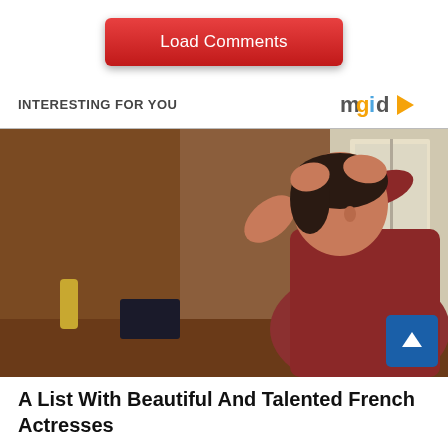[Figure (other): Red rounded button labeled 'Load Comments']
INTERESTING FOR YOU
[Figure (logo): mgid logo with orange g, blue i, and play triangle icon]
[Figure (photo): A young woman in a dark red long-sleeve shirt arranging her hair up, photographed from the side in a warm indoor setting.]
A List With Beautiful And Talented French Actresses